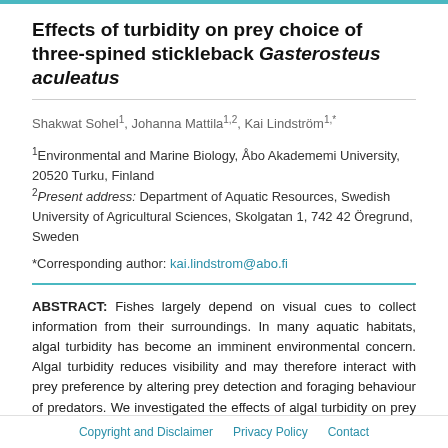Effects of turbidity on prey choice of three-spined stickleback Gasterosteus aculeatus
Shakwat Sohel¹, Johanna Mattila¹˒², Kai Lindström¹˒*
¹Environmental and Marine Biology, Åbo Akadememi University, 20520 Turku, Finland
²Present address: Department of Aquatic Resources, Swedish University of Agricultural Sciences, Skolgatan 1, 742 42 Öregrund, Sweden
*Corresponding author: kai.lindstrom@abo.fi
ABSTRACT: Fishes largely depend on visual cues to collect information from their surroundings. In many aquatic habitats, algal turbidity has become an imminent environmental concern. Algal turbidity reduces visibility and may therefore interact with prey preference by altering prey detection and foraging behaviour of predators. We investigated the effects of algal turbidity on prey choice decisions of 3-spined
Copyright and Disclaimer   Privacy Policy   Contact